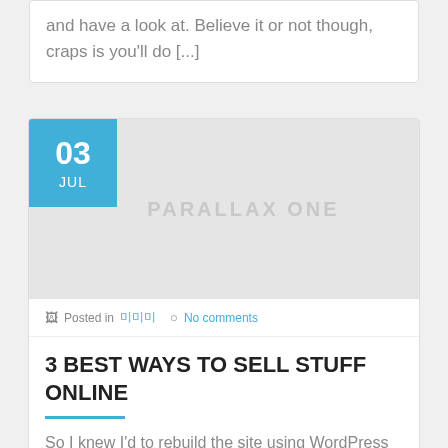and have a look at. Believe it or not though, craps is you'll do [...]
[Figure (other): Blog post thumbnail placeholder image with light gray background. A date badge in the top-left corner shows '03 JUL' on a blue background. A 'PARALLAX ONE' watermark is centered on the gray area.]
Posted in 미미미  No comments
3 BEST WAYS TO SELL STUFF ONLINE
So I knew I'd to rebuild the site using WordPress platforms. And that meant learning a much more